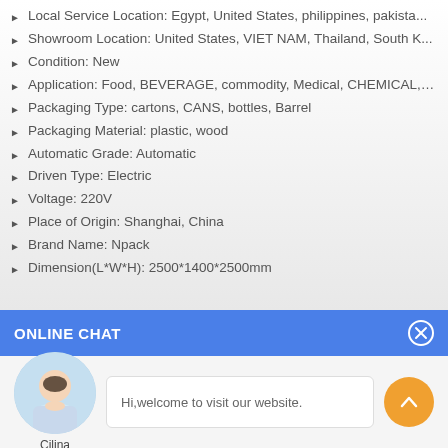Local Service Location: Egypt, United States, philippines, pakista...
Showroom Location: United States, VIET NAM, Thailand, South K...
Condition: New
Application: Food, BEVERAGE, commodity, Medical, CHEMICAL, M...
Packaging Type: cartons, CANS, bottles, Barrel
Packaging Material: plastic, wood
Automatic Grade: Automatic
Driven Type: Electric
Voltage: 220V
Place of Origin: Shanghai, China
Brand Name: Npack
Dimension(L*W*H): 2500*1400*2500mm
ONLINE CHAT
[Figure (photo): Avatar photo of a woman named Cilina with a welcome chat message bubble and scroll-up button]
Hi,welcome to visit our website.
Cilina